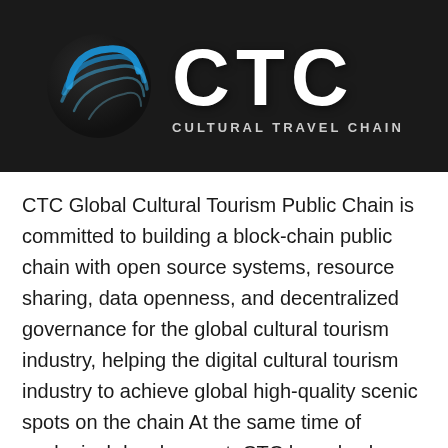[Figure (logo): CTC Cultural Travel Chain logo: dark background with a stylized globe/sphere icon in blue on the left, bold white 'CTC' letters on the right, and 'CULTURAL TRAVEL CHAIN' subtitle in grey below]
CTC Global Cultural Tourism Public Chain is committed to building a block-chain public chain with open source systems, resource sharing, data openness, and decentralized governance for the global cultural tourism industry, helping the digital cultural tourism industry to achieve global high-quality scenic spots on the chain At the same time of ecological development, CTC has also been working hard to promote the balance of global tourism resources, continuously update the global travel guide, provide practical travel strategies for global tourists, and minimize scenic spots and other mismatches, so that the tourism